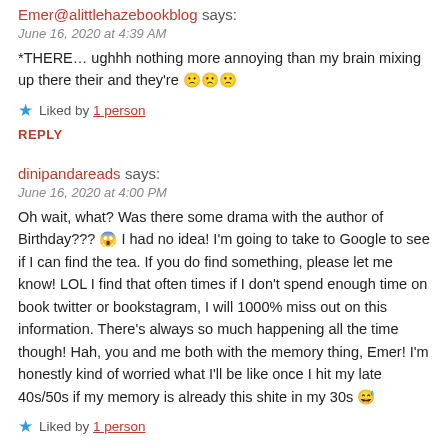Emer@alittlehazebookblog says:
June 16, 2020 at 4:39 AM
*THERE… ughhh nothing more annoying than my brain mixing up there their and they're 🙁🙁🙁
★ Liked by 1 person
REPLY
dinipandareads says:
June 16, 2020 at 4:00 PM
Oh wait, what? Was there some drama with the author of Birthday??? 😱 I had no idea! I'm going to take to Google to see if I can find the tea. If you do find something, please let me know! LOL I find that often times if I don't spend enough time on book twitter or bookstagram, I will 1000% miss out on this information. There's always so much happening all the time though! Hah, you and me both with the memory thing, Emer! I'm honestly kind of worried what I'll be like once I hit my late 40s/50s if my memory is already this shite in my 30s 😅
★ Liked by 1 person